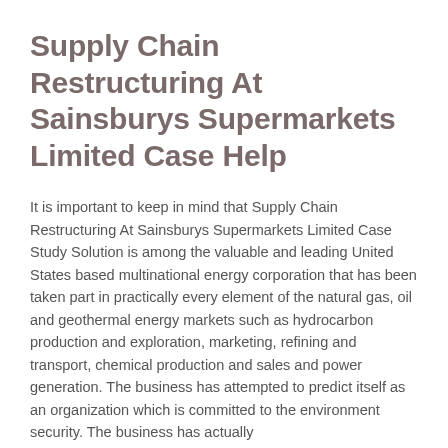Supply Chain Restructuring At Sainsburys Supermarkets Limited Case Help
It is important to keep in mind that Supply Chain Restructuring At Sainsburys Supermarkets Limited Case Study Solution is among the valuable and leading United States based multinational energy corporation that has been taken part in practically every element of the natural gas, oil and geothermal energy markets such as hydrocarbon production and exploration, marketing, refining and transport, chemical production and sales and power generation. The business has attempted to predict itself as an organization which is committed to the environment security. The business has actually